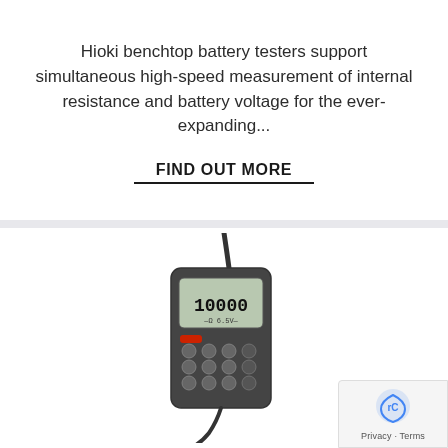Hioki benchtop battery testers support simultaneous high-speed measurement of internal resistance and battery voltage for the ever-expanding...
FIND OUT MORE
[Figure (photo): Hioki handheld battery tester device with digital display showing '10000', keypad buttons, cable and test probe/clamp attached]
Privacy · Terms